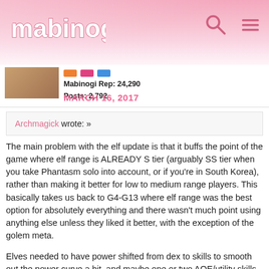Mabinogi
Mabinogi Rep: 24,290
Posts: 2,792
MARCH 16, 2017
Archmagick wrote: »
The main problem with the elf update is that it buffs the point of the game where elf range is ALREADY S tier (arguably SS tier when you take Phantasm solo into account, or if you're in South Korea), rather than making it better for low to medium range players. This basically takes us back to G4-G13 where elf range was the best option for absolutely everything and there wasn't much point using anything else unless they liked it better, with the exception of the golem meta.

Elves needed to have power shifted from dex to skills to smooth out the power curve a bit, and maybe one or two AOE/utility skills.